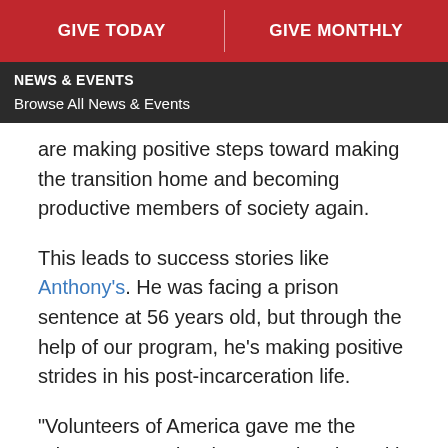GIVE TODAY | GIVE MONTHLY
NEWS & EVENTS
Browse All News & Events
are making positive steps toward making the transition home and becoming productive members of society again.
This leads to success stories like Anthony's. He was facing a prison sentence at 56 years old, but through the help of our program, he's making positive strides in his post-incarceration life.
"Volunteers of America gave me the advantages to do what I need to do and be what I need to be," said Anthony. "They have given me nothing but respect